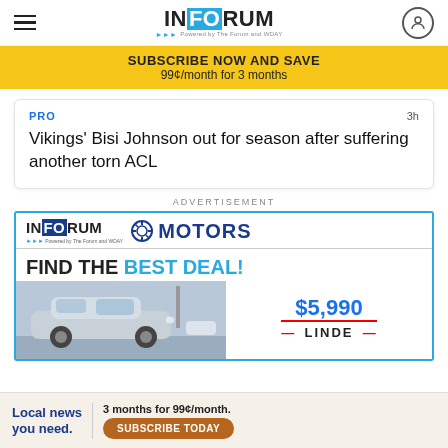INFORUM — Powered by The Forum and WDAY
SUBSCRIBE NOW AND SAVE
99¢/month for 3 months
PRO   3h
Vikings' Bisi Johnson out for season after suffering another torn ACL
ADVERTISEMENT
[Figure (illustration): InForum Motors advertisement: 'FIND THE BEST DEAL!' with a silver SUV photo and price of $5,990, partial brand name visible at bottom.]
Local news you need.   3 months for 99¢/month.   SUBSCRIBE TODAY